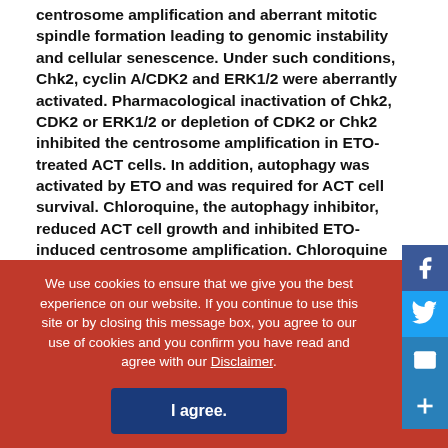centrosome amplification and aberrant mitotic spindle formation leading to genomic instability and cellular senescence. Under such conditions, Chk2, cyclin A/CDK2 and ERK1/2 were aberrantly activated. Pharmacological inactivation of Chk2, CDK2 or ERK1/2 or depletion of CDK2 or Chk2 inhibited the centrosome amplification in ETO-treated ACT cells. In addition, autophagy was activated by ETO and was required for ACT cell survival. Chloroquine, the autophagy inhibitor, reduced ACT cell growth and inhibited ETO-induced centrosome amplification. Chloroquine alleviated CDK2 and ERK, but not Chk2, activation and thus inhibited centrosome amplification in either ETO- or hydroxyurea-treated ACT cells. In addition, chloroquine also inhibited centrosome amplification in osteosarcoma U2OS cell lines whe...
We use cookies to ensure that we give you the best experience on our website. If you continue to use this site or by closing this message box, you agree to our use of cookies and you confirm you have read and agree with our Disclaimer.
I agree.